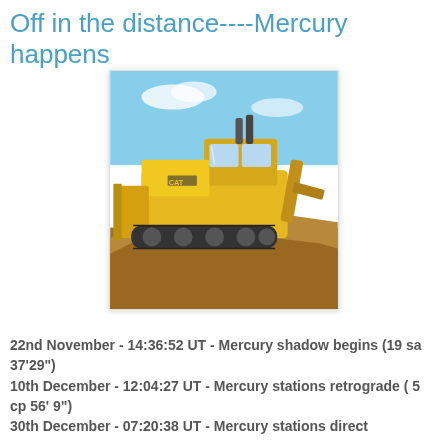Off in the distance----Mercury happens
[Figure (photo): Yellow CAT bulldozer on a dirt mound against a blue sky background]
22nd November - 14:36:52 UT - Mercury shadow begins (19 sa 37'29")
10th December - 12:04:27 UT - Mercury stations retrograde ( 5 cp 56' 9")
30th December - 07:20:38 UT - Mercury stations direct